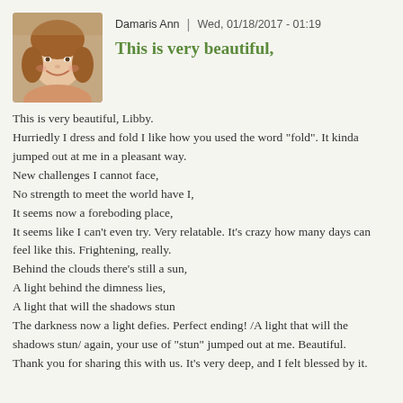[Figure (photo): Profile photo of Damaris Ann, a smiling young woman with brown hair]
Damaris Ann | Wed, 01/18/2017 - 01:19
This is very beautiful,
This is very beautiful, Libby.
Hurriedly I dress and fold I like how you used the word "fold". It kinda jumped out at me in a pleasant way.
New challenges I cannot face,
No strength to meet the world have I,
It seems now a foreboding place,
It seems like I can't even try. Very relatable. It's crazy how many days can feel like this. Frightening, really.
Behind the clouds there's still a sun,
A light behind the dimness lies,
A light that will the shadows stun
The darkness now a light defies. Perfect ending! /A light that will the shadows stun/ again, your use of "stun" jumped out at me. Beautiful.
Thank you for sharing this with us. It's very deep, and I felt blessed by it.